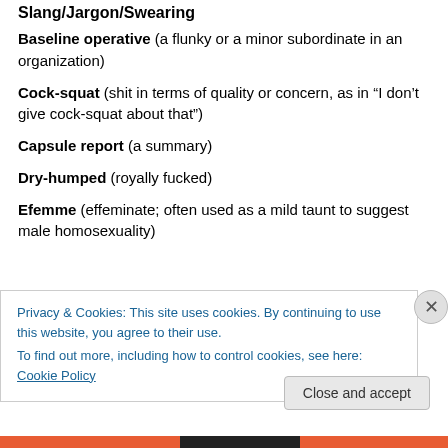Slang/Jargon/Swearing
Baseline operative (a flunky or a minor subordinate in an organization)
Cock-squat (shit in terms of quality or concern, as in “I don’t give cock-squat about that”)
Capsule report (a summary)
Dry-humped (royally fucked)
Efemme (effeminate; often used as a mild taunt to suggest male homosexuality)
Privacy & Cookies: This site uses cookies. By continuing to use this website, you agree to their use.
To find out more, including how to control cookies, see here: Cookie Policy
Close and accept